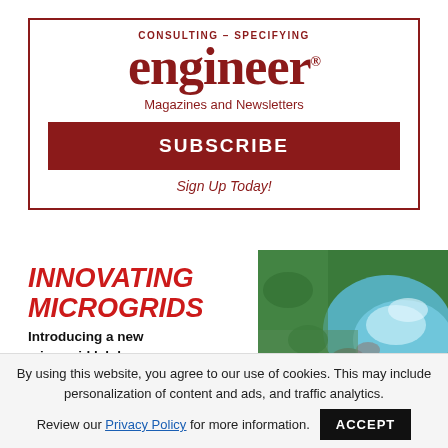[Figure (logo): Consulting-Specifying Engineer magazine logo with subscribe box, including title text, tagline, subscribe button, and sign up call to action]
[Figure (infographic): Innovating Microgrids advertisement with red italic title, description 'Introducing a new microgrid lab by Cummins', red diagonal stripe graphic, and aerial photo of waterfall/stream]
By using this website, you agree to our use of cookies. This may include personalization of content and ads, and traffic analytics. Review our Privacy Policy for more information.
ACCEPT